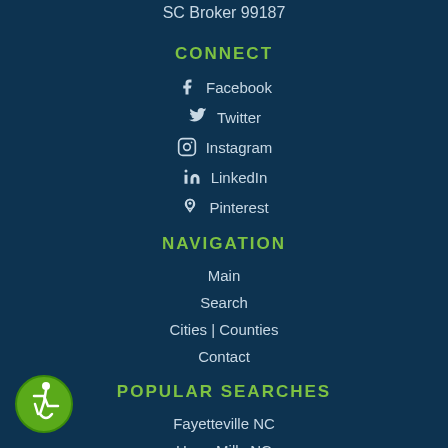SC Broker 99187
CONNECT
Facebook
Twitter
Instagram
LinkedIn
Pinterest
NAVIGATION
Main
Search
Cities | Counties
Contact
POPULAR SEARCHES
Fayetteville NC
Hope Mills NC
[Figure (logo): Green circular accessibility badge with wheelchair user icon]